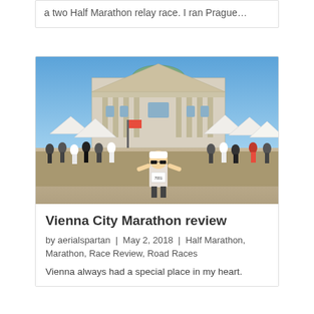a two Half Marathon relay race. I ran Prague…
[Figure (photo): Runner with race bib number 7001 posing in front of a large neoclassical building (Burgtheater Vienna) with crowds and white event tents in the background on a sunny day.]
Vienna City Marathon review
by aerialspartan  |  May 2, 2018  |  Half Marathon, Marathon, Race Review, Road Races
Vienna always had a special place in my heart.